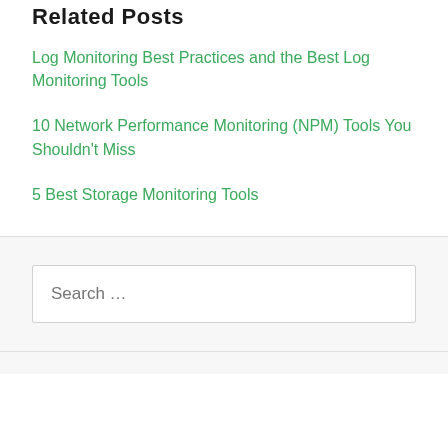Related Posts
Log Monitoring Best Practices and the Best Log Monitoring Tools
10 Network Performance Monitoring (NPM) Tools You Shouldn't Miss
5 Best Storage Monitoring Tools
Search …